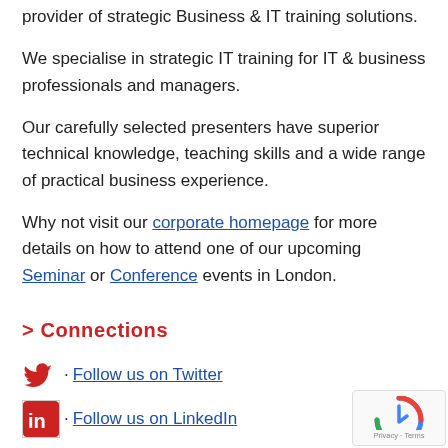provider of strategic Business & IT training solutions.
We specialise in strategic IT training for IT & business professionals and managers.
Our carefully selected presenters have superior technical knowledge, teaching skills and a wide range of practical business experience.
Why not visit our corporate homepage for more details on how to attend one of our upcoming Seminar or Conference events in London.
> Connections
· Follow us on Twitter
· Follow us on LinkedIn